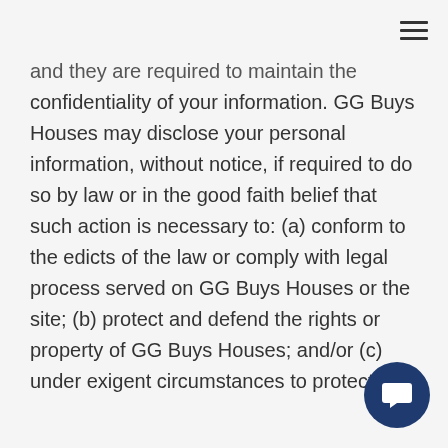≡
and they are required to maintain the confidentiality of your information. GG Buys Houses may disclose your personal information, without notice, if required to do so by law or in the good faith belief that such action is necessary to: (a) conform to the edicts of the law or comply with legal process served on GG Buys Houses or the site; (b) protect and defend the rights or property of GG Buys Houses; and/or (c) under exigent circumstances to protect the